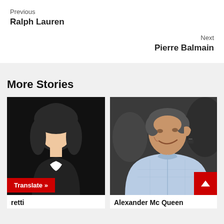Previous
Ralph Lauren
Next
Pierre Balmain
More Stories
[Figure (illustration): Silhouette placeholder illustration of a female figure on black background]
Translate »
retti
[Figure (photo): Photo of Alexander Mc Queen, a man in a light blue shirt smiling]
Alexander Mc Queen